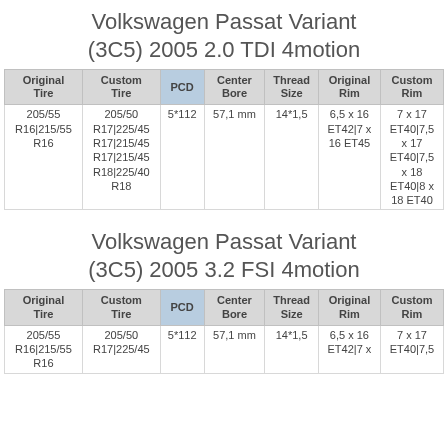Volkswagen Passat Variant (3C5) 2005 2.0 TDI 4motion
| Original Tire | Custom Tire | PCD | Center Bore | Thread Size | Original Rim | Custom Rim |
| --- | --- | --- | --- | --- | --- | --- |
| 205/55 R16|215/55 R16 | 205/50 R17|225/45 R17|215/45 R17|215/45 R18|225/40 R18 | 5*112 | 57,1 mm | 14*1,5 | 6,5 x 16 ET42|7 x 16 ET45 | 7 x 17 ET40|7,5 x 17 ET40|7,5 x 18 ET40|8 x 18 ET40 |
Volkswagen Passat Variant (3C5) 2005 3.2 FSI 4motion
| Original Tire | Custom Tire | PCD | Center Bore | Thread Size | Original Rim | Custom Rim |
| --- | --- | --- | --- | --- | --- | --- |
| 205/55 R16|215/55 R16 | 205/50 R17|225/45 R17 | 5*112 | 57,1 mm | 14*1,5 | 6,5 x 16 ET42|7 x ... | 7 x 17 ET40|7,5 ... |